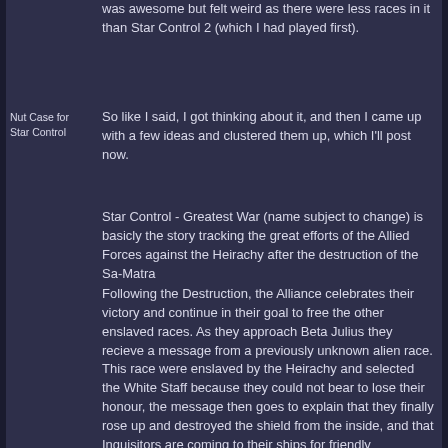was awesome but felt weird as there were less races in it than Star Control 2 (which I had played first).
Nut Case for Star Control
So like I said, I got thinking about it, and then I came up with a few ideas and clustered them up, which I'll post now.
Star Control - Greatest War (name subject to change) is basicly the story tracking the great efforts of the Allied Forces against the Heirachy after the destruction of the Sa-Matra
Following the Destruction, the Alliance celebrates their victory and continue in their goal to free the other enslaved races. As they approach Beta Julius they recieve a message from a previously unknown alien race. This race were enslaved by the Heirachy and selected the White Staff because they could not bear to lose their honour, the message then goes to explain that they finally rose up and destroyed the shield from the inside, and that Inquisitors are coming to their ships for friendly negotiation.
This race turns out to be the Fjorn, a race of honourable people who act and speak much like the medieval knights of old. They are shocked and ashamed at themselves when they hear that the Sa-Matra was already destroyed, and vow to make